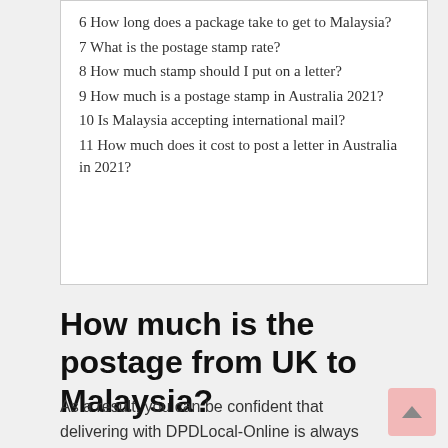6 How long does a package take to get to Malaysia?
7 What is the postage stamp rate?
8 How much stamp should I put on a letter?
9 How much is a postage stamp in Australia 2021?
10 Is Malaysia accepting international mail?
11 How much does it cost to post a letter in Australia in 2021?
How much is the postage from UK to Malaysia?
As a result, you can be confident that delivering with DPDLocal-Online is always the